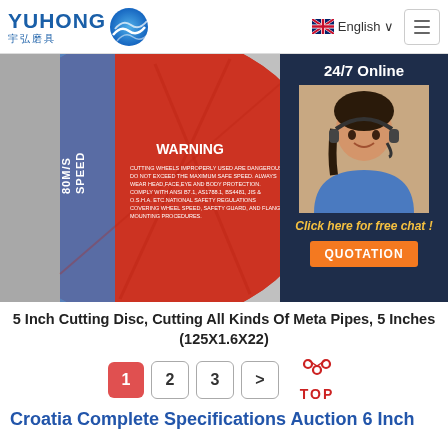[Figure (logo): Yuhong logo with blue wave icon and Chinese characters 宇弘磨具]
English ∨
[Figure (photo): Close-up of a red and blue 5-inch cutting disc showing WARNING label with safety text, SPEED 80M/S, and barcode 621090. A 24/7 Online chat widget with agent photo is overlaid on the right side.]
5 Inch Cutting Disc, Cutting All Kinds Of Meta Pipes, 5 Inches (125X1.6X22)
[Figure (other): Pagination controls: page 1 (active/red), 2, 3, > arrow, and TOP icon]
Croatia Complete Specifications Auction 6 Inch